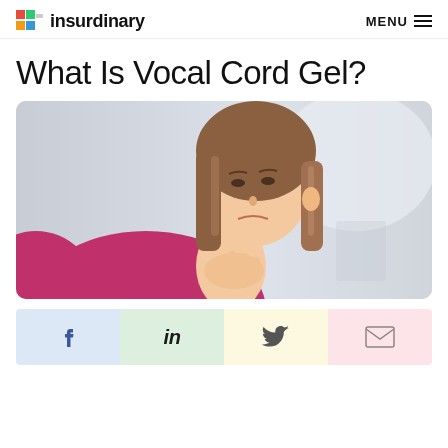insurdinary | MENU
What Is Vocal Cord Gel?
[Figure (photo): Woman in pink top touching her throat/neck area with one hand, head tilted back, light background]
[Figure (infographic): Social sharing bar with four buttons: Facebook (f), LinkedIn (in), Twitter bird icon, Email envelope icon]